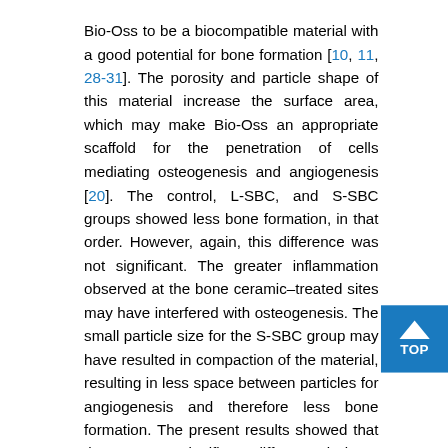Bio-Oss to be a biocompatible material with a good potential for bone formation [10, 11, 28-31]. The porosity and particle shape of this material increase the surface area, which may make Bio-Oss an appropriate scaffold for the penetration of cells mediating osteogenesis and angiogenesis [20]. The control, L-SBC, and S-SBC groups showed less bone formation, in that order. However, again, this difference was not significant. The greater inflammation observed at the bone ceramic–treated sites may have interfered with osteogenesis. The small particle size for the S-SBC group may have resulted in compaction of the material, resulting in less space between particles for angiogenesis and therefore less bone formation. The present results showed that there was no significant difference in bone regeneration between the control group and the other groups. This finding is inconsistent with previously published results [16-20]. The authors suggest that the thickness is too...